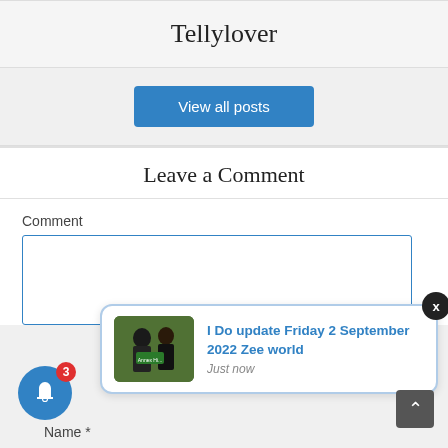Tellylover
View all posts
Leave a Comment
Comment
[Figure (screenshot): Notification popup showing 'I Do update Friday 2 September 2022 Zee world' with thumbnail image and 'Just now' timestamp]
Name *